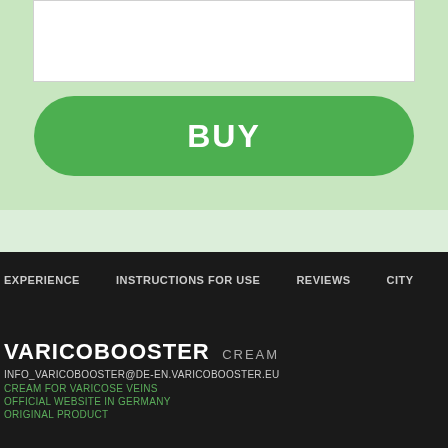[Figure (screenshot): White input/form box on light green background]
[Figure (screenshot): Green rounded BUY button on light green background]
EXPERIENCE   INSTRUCTIONS FOR USE   REVIEWS   CITY   ARTICLES
VARICOBOOSTER CREAM
INFO_VARICOBOOSTER@DE-EN.VARICOBOOSTER.EU
CREAM FOR VARICOSE VEINS
OFFICIAL WEBSITE IN GERMANY
ORIGINAL PRODUCT